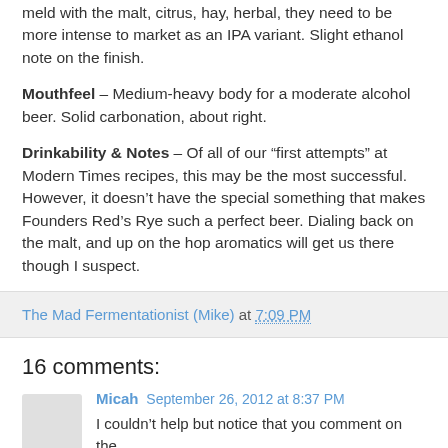meld with the malt, citrus, hay, herbal, they need to be more intense to market as an IPA variant. Slight ethanol note on the finish.
Mouthfeel – Medium-heavy body for a moderate alcohol beer. Solid carbonation, about right.
Drinkability & Notes – Of all of our “first attempts” at Modern Times recipes, this may be the most successful. However, it doesn’t have the special something that makes Founders Red’s Rye such a perfect beer. Dialing back on the malt, and up on the hop aromatics will get us there though I suspect.
The Mad Fermentationist (Mike) at 7:09 PM
16 comments:
Micah  September 26, 2012 at 8:37 PM
I couldn’t help but notice that you comment on the